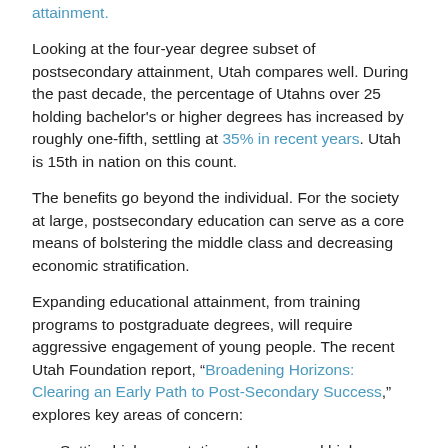attainment.
Looking at the four-year degree subset of postsecondary attainment, Utah compares well. During the past decade, the percentage of Utahns over 25 holding bachelor's or higher degrees has increased by roughly one-fifth, settling at 35% in recent years. Utah is 15th in nation on this count.
The benefits go beyond the individual. For the society at large, postsecondary education can serve as a core means of bolstering the middle class and decreasing economic stratification.
Expanding educational attainment, from training programs to postgraduate degrees, will require aggressive engagement of young people. The recent Utah Foundation report, “Broadening Horizons: Clearing an Early Path to Post-Secondary Success,” explores key areas of concern:
Setting high expectations at home and high standards in schools; ensuring early basic attainment.
Getting all high school students to fill out financial aid paperwork; sharing clear information on postsecondary options.
Providing an adequate number of school counselors